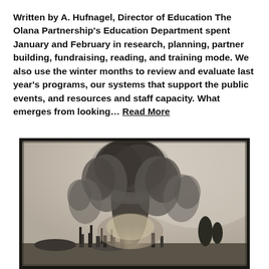Written by A. Hufnagel, Director of Education The Olana Partnership's Education Department spent January and February in research, planning, partner building, fundraising, reading, and training mode. We also use the winter months to review and evaluate last year's programs, our systems that support the public events, and resources and staff capacity. What emerges from looking... Read More
[Figure (photo): Black and white / sepia-toned historical photograph showing a large explosion or fire with a massive mushroom-shaped smoke cloud rising above what appears to be ruins or a building with columns, with dense smoke and flames visible at ground level. The photo has a dark border/frame.]